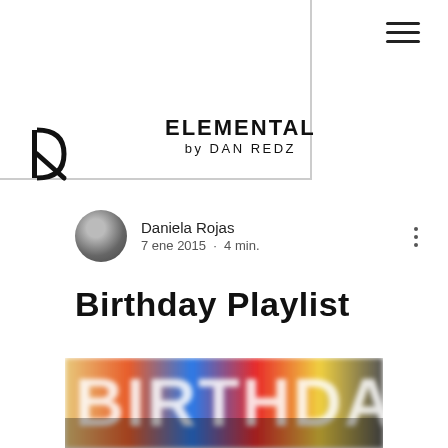[Figure (logo): DR logo mark — stylized letters D and R combined into a geometric monogram]
ELEMENTAL by DAN REDZ
≡ (hamburger menu icon)
Daniela Rojas
7 ene 2015 · 4 min.
Birthday Playlist
[Figure (photo): Colorful blurred photo with text BIRTHDAY overlaid in large letters with multicolor gradient background]